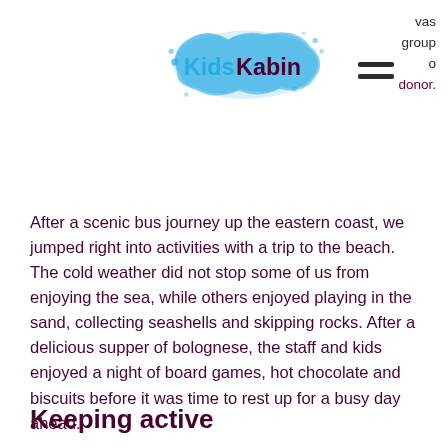[Figure (logo): KidsKabin logo with blue paint splash graphic and text 'KidsKabin']
vas
group
o
donor.
After a scenic bus journey up the eastern coast, we jumped right into activities with a trip to the beach. The cold weather did not stop some of us from enjoying the sea, while others enjoyed playing in the sand, collecting seashells and skipping rocks. After a delicious supper of bolognese, the staff and kids enjoyed a night of board games, hot chocolate and biscuits before it was time to rest up for a busy day ahead.
Keeping active